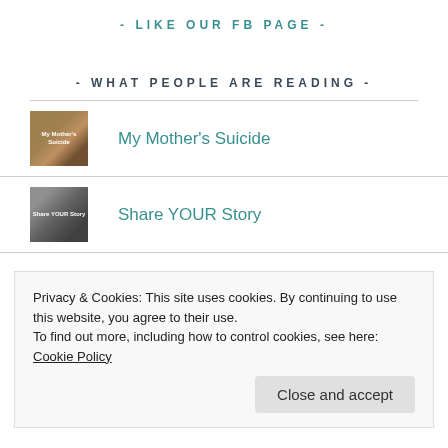- LIKE OUR FB PAGE -
- WHAT PEOPLE ARE READING -
My Mother's Suicide
Share YOUR Story
Privacy & Cookies: This site uses cookies. By continuing to use this website, you agree to their use.
To find out more, including how to control cookies, see here: Cookie Policy
Close and accept